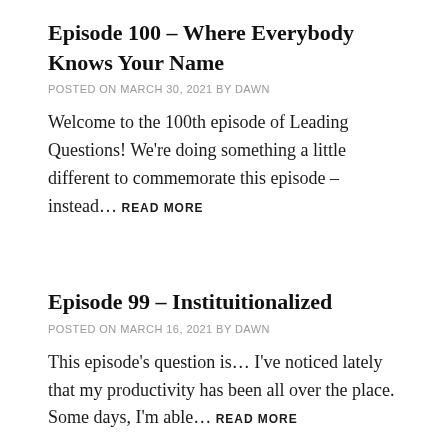Episode 100 – Where Everybody Knows Your Name
POSTED ON MARCH 30, 2021 BY DAWN
Welcome to the 100th episode of Leading Questions! We're doing something a little different to commemorate this episode – instead… READ MORE
Episode 99 – Instituitionalized
POSTED ON MARCH 16, 2021 BY DAWN
This episode's question is… I've noticed lately that my productivity has been all over the place. Some days, I'm able… READ MORE